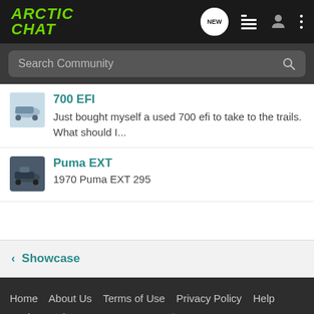Arctic Chat
Search Community
700 EFI
Just bought myself a used 700 efi to take to the trails. What should I...
Puma EXT
1970 Puma EXT 295
< Showcase
Home  About Us  Terms of Use  Privacy Policy  Help  Business Directory  Contact Us  |  Grow Your Business  NEW  (rss)  VerticalScope Inc., 111 Peter Street, Suite 600, Toronto,